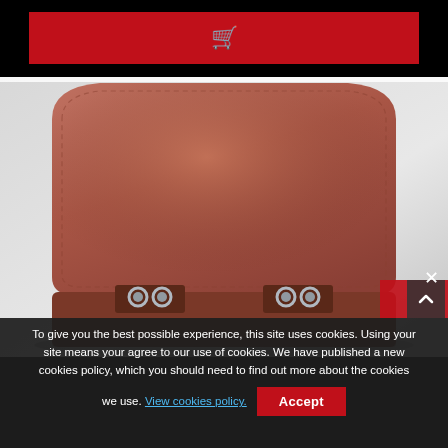[Figure (screenshot): Red shopping cart button on black background (top navigation bar)]
[Figure (photo): Close-up photo of a brown leather satchel/messenger bag with silver buckle hardware, against a light grey gradient background]
To give you the best possible experience, this site uses cookies. Using your site means your agree to our use of cookies. We have published a new cookies policy, which you should need to find out more about the cookies we use. View cookies policy.  Accept